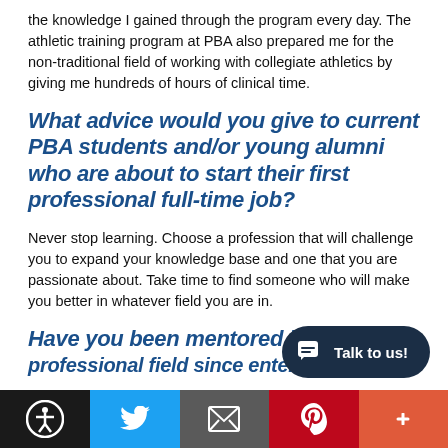the knowledge I gained through the program every day. The athletic training program at PBA also prepared me for the non-traditional field of working with collegiate athletics by giving me hundreds of hours of clinical time.
What advice would you give to current PBA students and/or young alumni who are about to start their first professional full-time job?
Never stop learning. Choose a profession that will challenge you to expand your knowledge base and one that you are passionate about. Take time to find someone who will make you better in whatever field you are in.
Have you been mentored by any... professional field since entering the...
[Figure (other): Bottom navigation toolbar with accessibility icon, Twitter bird icon, email/envelope icon, Pinterest P icon, and plus icon on colored backgrounds (black, blue, gray, red, orange-red). Also a dark oval chat button with speech bubble icon and 'Talk to us!' text.]